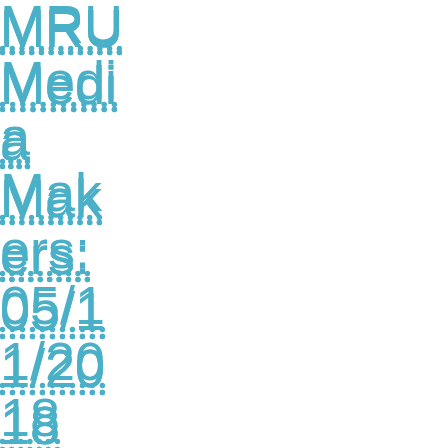MRU Media Makers: 05/11/2018
MRU IN THE NEWS
THINKING OF A CAREER IN CANNABIS? MRU HAS A COURSE FOR YOU: